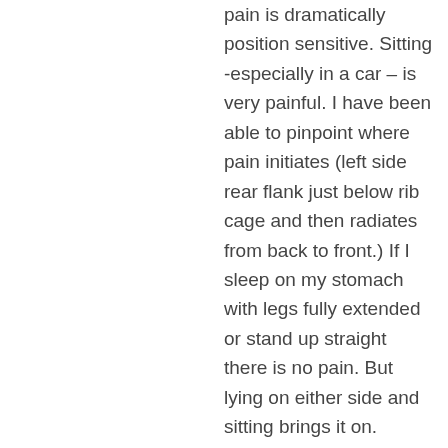pain is dramatically position sensitive. Sitting -especially in a car – is very painful. I have been able to pinpoint where pain initiates (left side rear flank just below rib cage and then radiates from back to front.) If I sleep on my stomach with legs fully extended or stand up straight there is no pain. But lying on either side and sitting brings it on.